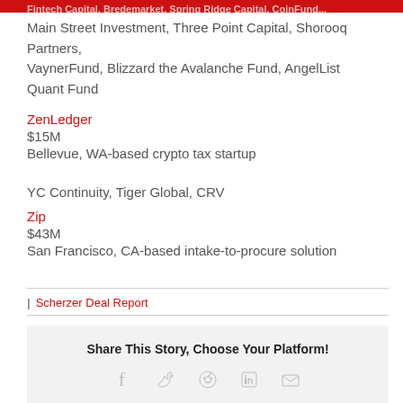Main Street Investment, Three Point Capital, Shorooq Partners, VaynerFund, Blizzard the Avalanche Fund, AngelList Quant Fund
ZenLedger
$15M
Bellevue, WA-based crypto tax startup
YC Continuity, Tiger Global, CRV
Zip
$43M
San Francisco, CA-based intake-to-procure solution
| Scherzer Deal Report
Share This Story, Choose Your Platform!